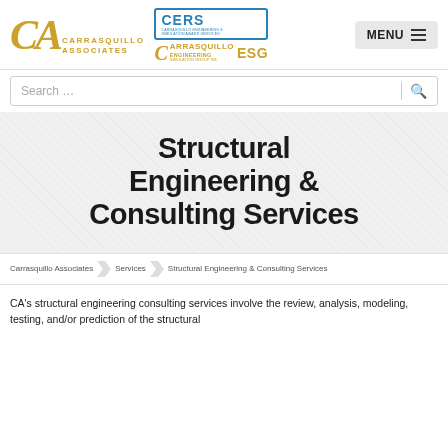[Figure (logo): Carrasquillo Associates logo with CA monogram in gold italic letters, plus CERS and CESG subsidiary logos]
[Figure (other): MENU button with hamburger icon in light gray box]
Search …
Structural Engineering & Consulting Services
Carrasquillo Associates / Services / Structural Engineering & Consulting Services
CA's structural engineering consulting services involve the review, analysis, modeling, testing, and/or prediction of the structural